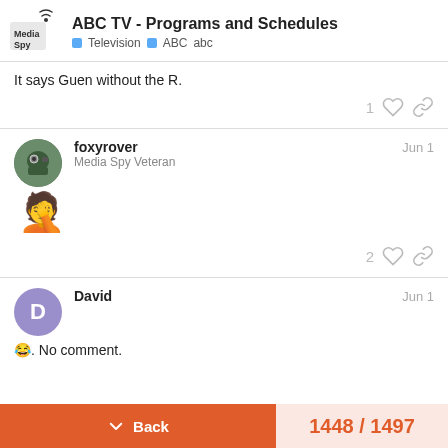ABC TV - Programs and Schedules | Television ABC abc
It says Guen without the R.
foxyrover  Jun 1
Media Spy Veteran
🤦 [facepalm emoji]
2 likes
David  Jun 1
😂. No comment.
Back  1448 / 1497